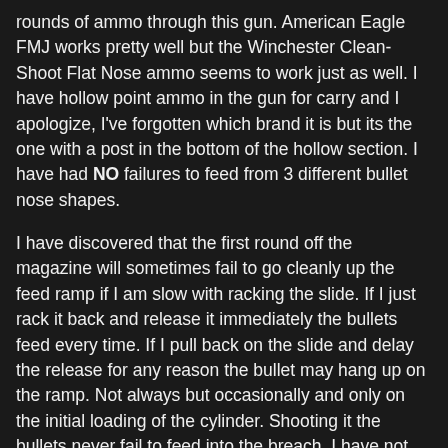rounds of ammo through this gun. American Eagle FMJ works pretty well but the Winchester Clean-Shoot Flat Nose ammo seems to work just as well. I have hollow point ammo in the gun for carry and I apologize, I've forgotten which brand it is but its the one with a post in the bottom of the hollow section. I have had NO failures to feed from 3 different bullet nose shapes.
I have discovered that the first round off the magazine will sometimes fail to go cleanly up the feed ramp if I am slow with racking the slide. If I just rack it back and release it immediately the bullets feed every time. If I pull back on the slide and delay the release for any reason the bullet may hang up on the ramp. Not always but occasionally and only on the initial loading of the cylinder. Shooting it the bullets never fail to feed into the breach. I have not tried polishing the feed ramp but it is a recommended user/owner modification.
I have had a couple of failures to eject so far. I can't state positively the reason why though it seems that the ejector doesn't grip the case rim securely and that the ejector